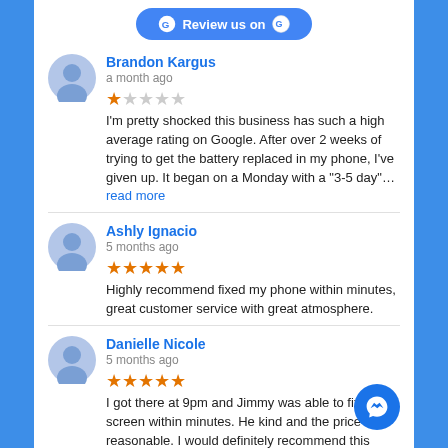[Figure (screenshot): Google review button at top]
Brandon Kargus
a month ago
1 star rating
I'm pretty shocked this business has such a high average rating on Google. After over 2 weeks of trying to get the battery replaced in my phone, I've given up. It began on a Monday with a "3-5 day"... read more
Ashly Ignacio
5 months ago
5 star rating
Highly recommend fixed my phone within minutes, great customer service with great atmosphere.
Danielle Nicole
5 months ago
5 star rating
I got there at 9pm and Jimmy was able to fix my screen within minutes. He kind and the price was reasonable. I would definitely recommend this place to others.